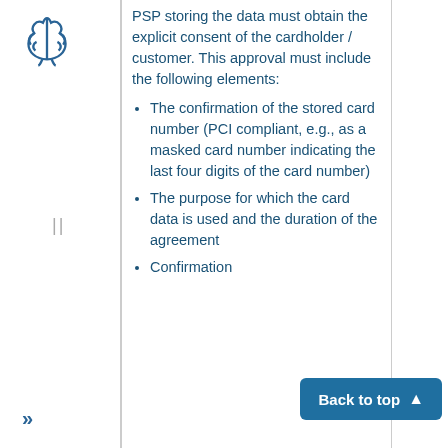[Figure (logo): Brain icon in blue outline style in the left sidebar]
PSP storing the data must obtain the explicit consent of the cardholder / customer. This approval must include the following elements:
The confirmation of the stored card number (PCI compliant, e.g., as a masked card number indicating the last four digits of the card number)
The purpose for which the card data is used and the duration of the agreement
Confirmation